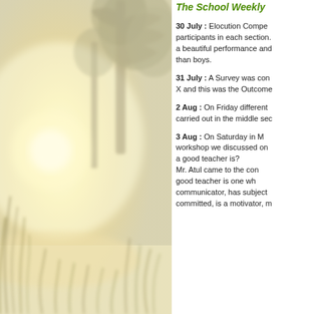[Figure (photo): Misty morning landscape with trees and tall grass in soft golden light]
The School Weekly
30 July : Elocution Competition participants in each section. a beautiful performance and than boys.
31 July : A Survey was conducted X and this was the Outcome
2 Aug : On Friday different activities carried out in the middle section
3 Aug : On Saturday in M workshop we discussed on a good teacher is? Mr. Atul came to the conclusion good teacher is one wh communicator, has subject committed, is a motivator, m